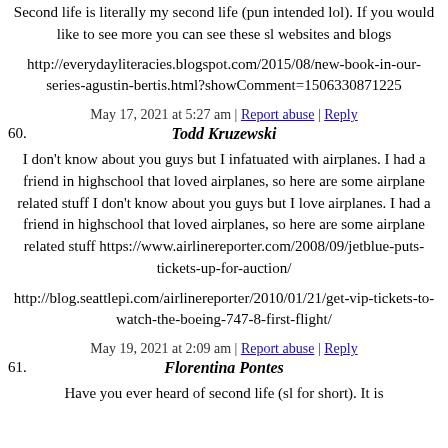Second life is literally my second life (pun intended lol). If you would like to see more you can see these sl websites and blogs
http://everydayliteracies.blogspot.com/2015/08/new-book-in-our-series-agustin-bertis.html?showComment=1506330871225
May 17, 2021 at 5:27 am | Report abuse | Reply
60. Todd Kruzewski
I don't know about you guys but I infatuated with airplanes. I had a friend in highschool that loved airplanes, so here are some airplane related stuff I don't know about you guys but I love airplanes. I had a friend in highschool that loved airplanes, so here are some airplane related stuff https://www.airlinereporter.com/2008/09/jetblue-puts-tickets-up-for-auction/
http://blog.seattlepi.com/airlinereporter/2010/01/21/get-vip-tickets-to-watch-the-boeing-747-8-first-flight/
May 19, 2021 at 2:09 am | Report abuse | Reply
61. Florentina Pontes
Have you ever heard of second life (sl for short). It is